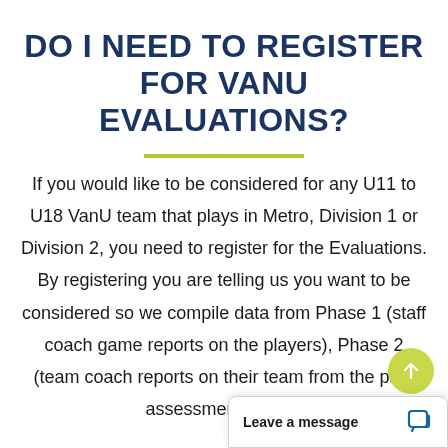DO I NEED TO REGISTER FOR VANU EVALUATIONS?
If you would like to be considered for any U11 to U18 VanU team that plays in Metro, Division 1 or Division 2, you need to register for the Evaluations. By registering you are telling us you want to be considered so we compile data from Phase 1 (staff coach game reports on the players), Phase 2 (team coach reports on their team from the pa... assessment sessi...